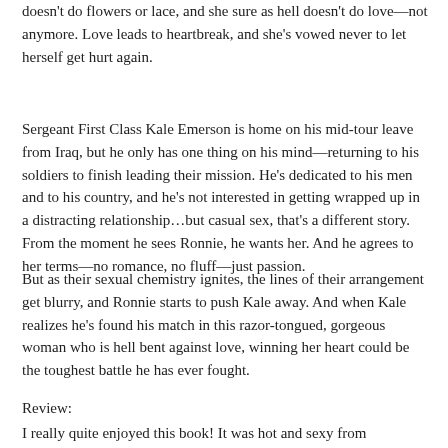doesn't do flowers or lace, and she sure as hell doesn't do love—not anymore. Love leads to heartbreak, and she's vowed never to let herself get hurt again.
Sergeant First Class Kale Emerson is home on his mid-tour leave from Iraq, but he only has one thing on his mind—returning to his soldiers to finish leading their mission. He's dedicated to his men and to his country, and he's not interested in getting wrapped up in a distracting relationship…but casual sex, that's a different story. From the moment he sees Ronnie, he wants her. And he agrees to her terms—no romance, no fluff—just passion.
But as their sexual chemistry ignites, the lines of their arrangement get blurry, and Ronnie starts to push Kale away. And when Kale realizes he's found his match in this razor-tongued, gorgeous woman who is hell bent against love, winning her heart could be the toughest battle he has ever fought.
Review:
I really quite enjoyed this book! It was hot and sexy from